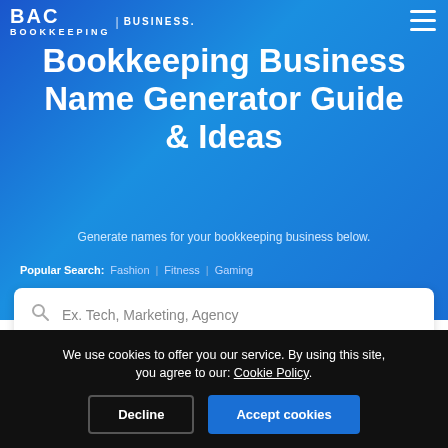BAC | BUSINESS. Bookkeeping
Bookkeeping Business Name Generator Guide & Ideas
Generate names for your bookkeeping business below.
Popular Search: Fashion | Fitness | Gaming
[Figure (screenshot): Search input box with placeholder text 'Ex. Tech, Marketing, Agency' and a search icon]
We use cookies to offer you our service. By using this site, you agree to our: Cookie Policy.
Decline
Accept cookies